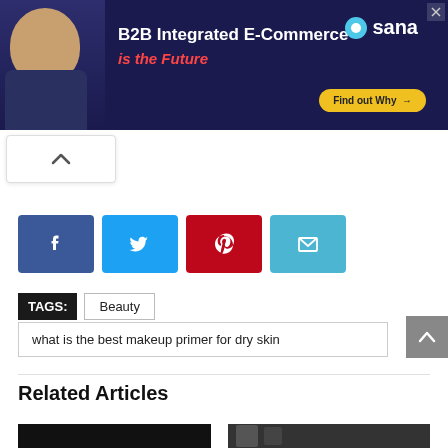[Figure (other): Advertisement banner for Sana Commerce: B2B Integrated E-Commerce is the Future, with a man in dark shirt, Sana logo, and yellow 'Find out Why' button on dark navy background.]
[Figure (other): White box with upward chevron arrow icon (scroll to top button).]
[Figure (other): Social share buttons: Facebook (blue), Twitter (light blue), Pinterest (red), Email (teal).]
TAGS: Beauty
what is the best makeup primer for dry skin
[Figure (other): Grey back-to-top button with upward chevron arrow.]
Related Articles
[Figure (photo): Partial thumbnail of related article image on the left (dark).]
[Figure (photo): Partial thumbnail of related article image on the right (dark with product bottles).]